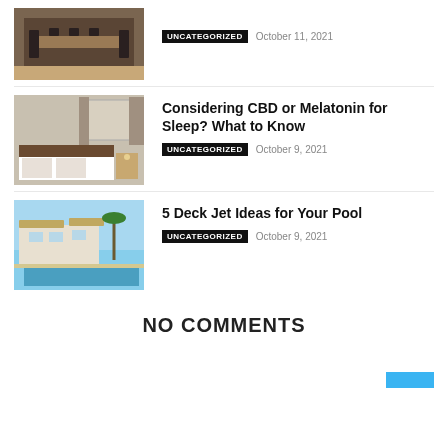[Figure (photo): Dining room with dark chairs and wooden table]
UNCATEGORIZED   October 11, 2021
[Figure (photo): Bedroom with white bedding and curtained windows]
Considering CBD or Melatonin for Sleep? What to Know
UNCATEGORIZED   October 9, 2021
[Figure (photo): Outdoor pool with house and blue sky]
5 Deck Jet Ideas for Your Pool
UNCATEGORIZED   October 9, 2021
NO COMMENTS